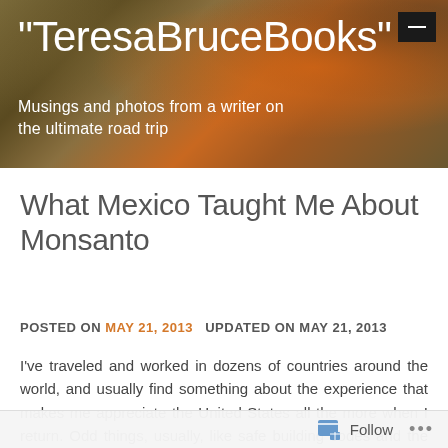[Figure (screenshot): Blog header banner with blurred warm tones (olive, brown, orange) background. Contains blog title and subtitle text in white.]
"TeresaBruceBooks"
Musings and photos from a writer on the ultimate road trip
What Mexico Taught Me About Monsanto
POSTED ON MAY 21, 2013   UPDATED ON MAY 21, 2013
I've traveled and worked in dozens of countries around the world, and usually find something about the experience that makes me appreciate the United States all the more when I return. Odd things, usually, like safe building codes and the rule of law. But sometimes traveling shines a spotlight on what needs
Follow ...